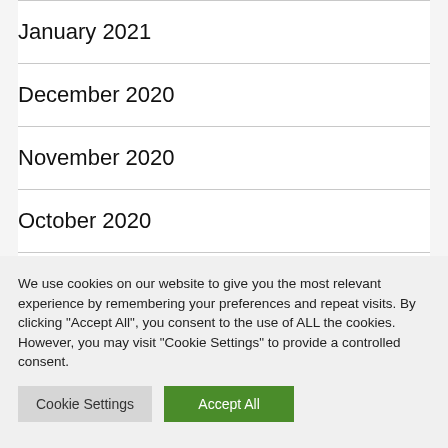January 2021
December 2020
November 2020
October 2020
September 2020
We use cookies on our website to give you the most relevant experience by remembering your preferences and repeat visits. By clicking "Accept All", you consent to the use of ALL the cookies. However, you may visit "Cookie Settings" to provide a controlled consent.
Cookie Settings
Accept All